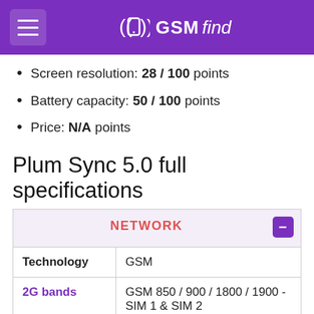GSMfind
Screen resolution: 28 / 100 points
Battery capacity: 50 / 100 points
Price: N/A points
Plum Sync 5.0 full specifications
| Spec | Value |
| --- | --- |
| NETWORK |  |
| Technology | GSM |
| 2G bands | GSM 850 / 900 / 1800 / 1900 - SIM 1 & SIM 2 |
| GPRS | Class 12 |
| EDGE | Class 12 |
| LAUNCH |  |